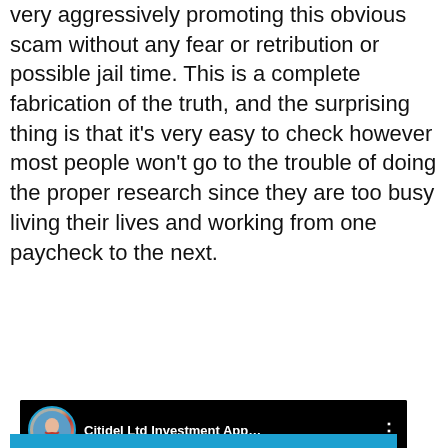very aggressively promoting this obvious scam without any fear or retribution or possible jail time. This is a complete fabrication of the truth, and the surprising thing is that it's very easy to check however most people won't go to the trouble of doing the proper research since they are too busy living their lives and working from one paycheck to the next.
[Figure (screenshot): YouTube video embed showing 'Citidel Ltd Investment App...' with a Trading Experts section below showing headshots of Roby J. Lattielda (Chairman Citidel Ltd Investments), Susan Wy... (CFO, Treasurer, Head Investor Relations), Iriancona (Independent Director), Rob Deiaru (President and CEO Bettor Exostrat), and Stefanie (Conference...)]